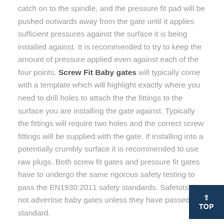catch on to the spindle, and the pressure fit pad will be pushed outwards away from the gate until it applies sufficient pressures against the surface it is being installed against. It is recommended to try to keep the amount of pressure applied even against each of the four points. Screw Fit Baby gates will typically come with a template which will highlight exactly where you need to drill holes to attach the the fittings to the surface you are installing the gate against. Typically the fittings will require two holes and the correct screw fittings will be supplied with the gate. If installing into a potentially crumbly surface it is recommended to use raw plugs. Both screw fit gates and pressure fit gates have to undergo the same rigorous safety testing to pass the EN1930:2011 safety standards. Safetots do not advertise baby gates unless they have passed this standard.